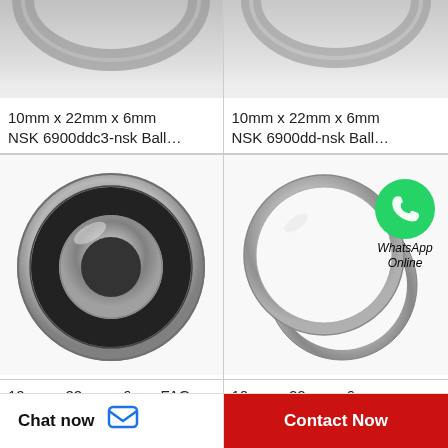[Figure (photo): Top portion of a ball bearing (metal ring), cropped, gray background]
[Figure (photo): Top portion of a ball bearing (metal ring), cropped, light gray background]
10mm x 22mm x 6mm NSK 6900ddc3-nsk Ball…
10mm x 22mm x 6mm NSK 6900dd-nsk Ball…
[Figure (photo): Ball bearing with rubber seal (black), silver outer ring, on white background]
[Figure (photo): Two thin metal rings overlapping on white background, with WhatsApp Online overlay bubble]
10mm x 22mm x 6mm FAG 61900-2… Ball…
10mm x 22mm x 6mm Timken 61900-2… sti…
Chat now
Contact Now